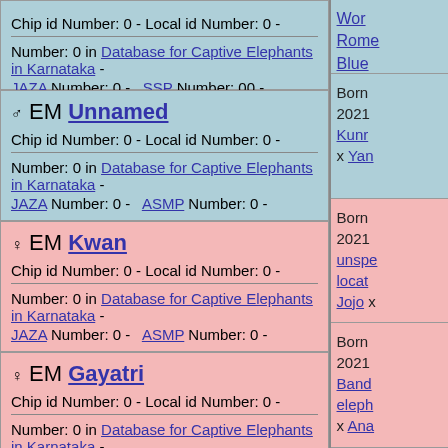Chip id Number: 0 - Local id Number: 0 -
Number: 0 in Database for Captive Elephants in Karnataka - JAZA Number: 0 - SSP Number: 00 - ASMP Number: 0 -
Wor Rome Blue
♂ EM Unnamed
Chip id Number: 0 - Local id Number: 0 -
Number: 0 in Database for Captive Elephants in Karnataka - JAZA Number: 0 - ASMP Number: 0 -
Born 2021 Kunr x Yan
♀ EM Kwan
Chip id Number: 0 - Local id Number: 0 -
Number: 0 in Database for Captive Elephants in Karnataka - JAZA Number: 0 - ASMP Number: 0 -
Born 2021 unspe locat Jojo x
♀ EM Gayatri
Chip id Number: 0 - Local id Number: 0 -
Number: 0 in Database for Captive Elephants in Karnataka - JAZA Number: 0 - ASMP Number: 0 -
Born 2021 Band eleph x Ana